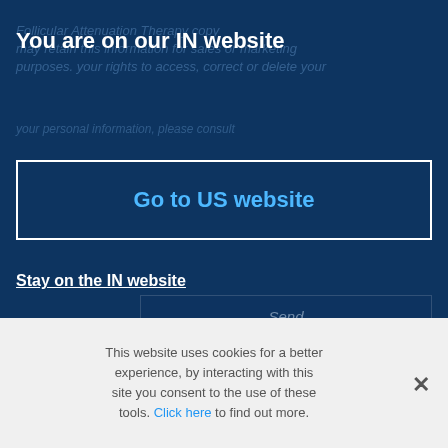You are on our IN website
Go to US website
Stay on the IN website
Send
India
2022 Torque · Paykel Healthcare Limited
This website uses cookies for a better experience, by interacting with this site you consent to the use of these tools. Click here to find out more.